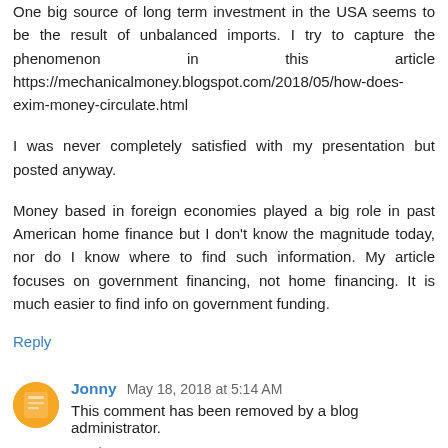One big source of long term investment in the USA seems to be the result of unbalanced imports. I try to capture the phenomenon in this article https://mechanicalmoney.blogspot.com/2018/05/how-does-exim-money-circulate.html
I was never completely satisfied with my presentation but posted anyway.
Money based in foreign economies played a big role in past American home finance but I don't know the magnitude today, nor do I know where to find such information. My article focuses on government financing, not home financing. It is much easier to find info on government funding.
Reply
Jonny  May 18, 2018 at 5:14 AM
This comment has been removed by a blog administrator.
Reply